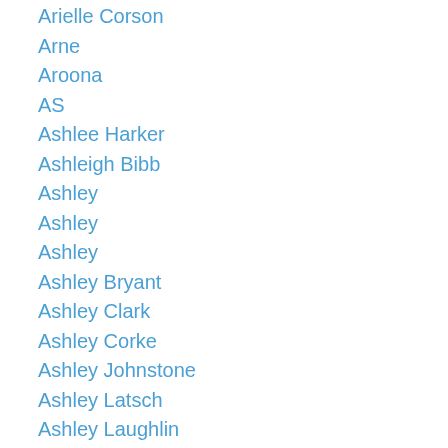Arielle Corson
Arne
Aroona
AS
Ashlee Harker
Ashleigh Bibb
Ashley
Ashley
Ashley
Ashley Bryant
Ashley Clark
Ashley Corke
Ashley Johnstone
Ashley Latsch
Ashley Laughlin
Ashley Marrison
Ashley Penner
Ashley Romereim
Ashley Rose
Ashley Thompson